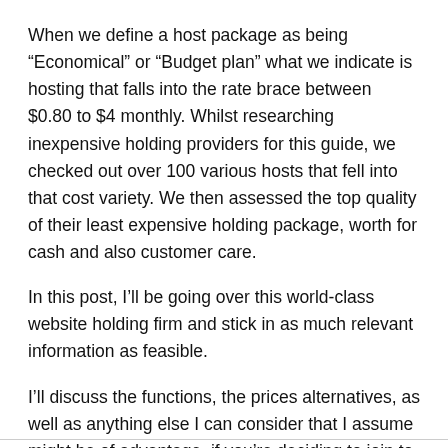When we define a host package as being “Economical” or “Budget plan” what we indicate is hosting that falls into the rate brace between $0.80 to $4 monthly. Whilst researching inexpensive holding providers for this guide, we checked out over 100 various hosts that fell into that cost variety. We then assessed the top quality of their least expensive holding package, worth for cash and also customer care.
In this post, I’ll be going over this world-class website holding firm and stick in as much relevant information as feasible.
I’ll discuss the functions, the prices alternatives, as well as anything else I can consider that I assume might be of advantage, if you’re deciding to join to Bluhost and obtain your internet sites up and running.
So without more ado, allow’s check it out.